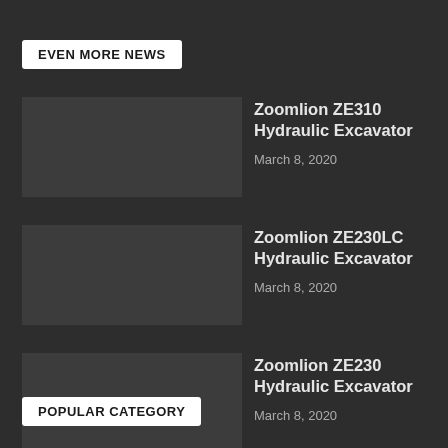EVEN MORE NEWS
Zoomlion ZE310 Hydraulic Excavator
March 8, 2020
Zoomlion ZE230LC Hydraulic Excavator
March 8, 2020
Zoomlion ZE230 Hydraulic Excavator
March 8, 2020
POPULAR CATEGORY